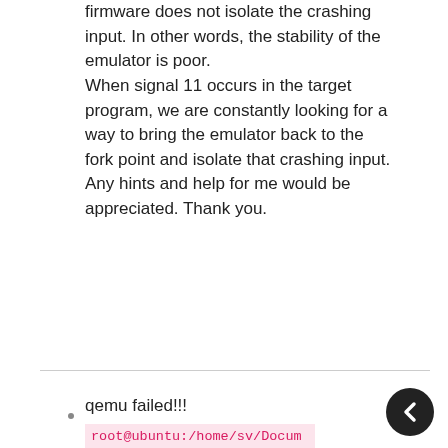firmware does not isolate the crashing input. In other words, the stability of the emulator is poor.
When signal 11 occurs in the target program, we are constantly looking for a way to bring the emulator back to the fork point and isolate that crashing input.
Any hints and help for me would be appreciated. Thank you.
qemu failed!!!
root@ubuntu:/home/sv/Documents/FirmAFL/image_2540#